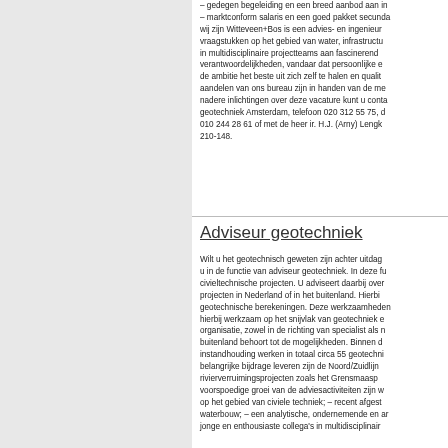– gedegen begeleiding en een breed aanbod aan in... – marktconform salaris en een goed pakket secunda... wij zijn Witteveen+Bos is een advies- en ingenieur... vraagstukken op het gebied van water, infrastructu... in multidisciplinaire projectteams aan fascinerend... verantwoordelijkheden, vandaar dat persoonlijke e... de ambitie het beste uit zich zelf te halen en qualit... aandelen van ons bureau zijn in handen van de me... nadere inlichtingen over deze vacature kunt u conta... geotechniek Amsterdam, telefoon 020 312 55 75, d... 010 244 28 61 of met de heer ir. H.J. (Arny) Lengk... 210-148.
Adviseur geotechniek
Wilt u het geotechnisch geweten zijn achter uitdage... u in de functie van adviseur geotechniek. In deze fu... civieltechnische projecten. U adviseert daarbij over... projecten in Nederland of in het buitenland. Hierbi... geotechnische berekeningen. Deze werkzaamheden... hierbij werkzaam op het snijvlak van geotechniek e... organisatie, zowel in de richting van specialist als n... buitenland behoort tot de mogelijkheden. Binnen d... instandhouding werken in totaal circa 55 geotechni... belangrijke bijdrage leveren zijn de Noord/Zuidlijn... rivierverruimingsprojecten zoals het Grensmaasp... voorspoedige groei van de adviesactiviteiten zijn w... op het gebied van civiele techniek; – recent afgest... waterbouw; – een analytische, ondernemende en ar... jonge en enthousiaste collega's in multidisciplinair...